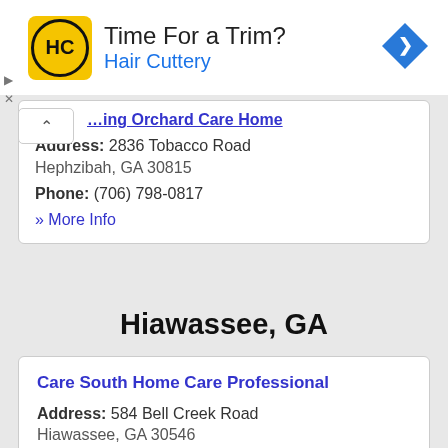[Figure (other): Hair Cuttery advertisement banner with logo, 'Time For a Trim?' headline, and navigation arrow icon]
Address: 2836 Tobacco Road
Hephzibah, GA 30815
Phone: (706) 798-0817
» More Info
Hiawassee, GA
Care South Home Care Professional
Address: 584 Bell Creek Road
Hiawassee, GA 30546